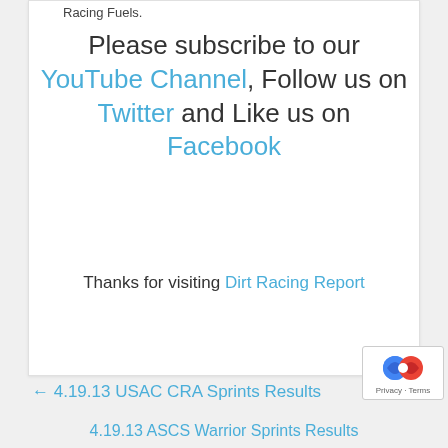Racing Fuels.
Please subscribe to our YouTube Channel, Follow us on Twitter and Like us on Facebook
Thanks for visiting Dirt Racing Report
← 4.19.13 USAC CRA Sprints Results
4.19.13 ASCS Warrior Sprints Results